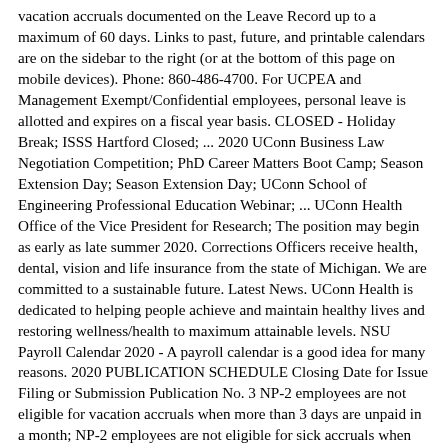vacation accruals documented on the Leave Record up to a maximum of 60 days. Links to past, future, and printable calendars are on the sidebar to the right (or at the bottom of this page on mobile devices). Phone: 860-486-4700. For UCPEA and Management Exempt/Confidential employees, personal leave is allotted and expires on a fiscal year basis. CLOSED - Holiday Break; ISSS Hartford Closed; ... 2020 UConn Business Law Negotiation Competition; PhD Career Matters Boot Camp; Season Extension Day; Season Extension Day; UConn School of Engineering Professional Education Webinar; ... UConn Health Office of the Vice President for Research; The position may begin as early as late summer 2020. Corrections Officers receive health, dental, vision and life insurance from the state of Michigan. We are committed to a sustainable future. Latest News. UConn Health is dedicated to helping people achieve and maintain healthy lives and restoring wellness/health to maximum attainable levels. NSU Payroll Calendar 2020 - A payroll calendar is a good idea for many reasons. 2020 PUBLICATION SCHEDULE Closing Date for Issue Filing or Submission Publication No. 3 NP-2 employees are not eligible for vacation accruals when more than 3 days are unpaid in a month; NP-2 employees are not eligible for sick accruals when more than 5 days are unpaid in a month. I think I can speak for everyone that none of us envisioned this current health crisis, or our graduation being celebrated in this way. Thank you for your partnership in creating transformational programming for Extension participants and stakeholders in all 169 municipalities of